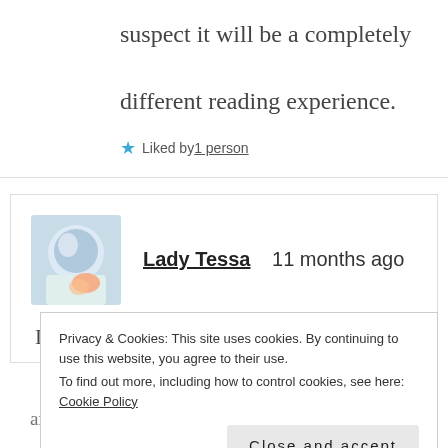suspect it will be a completely different reading experience.
★ Liked by 1 person
Lady Tessa    11 months ago
It's very interesting so far. I'm a
Privacy & Cookies: This site uses cookies. By continuing to use this website, you agree to their use.
To find out more, including how to control cookies, see here: Cookie Policy
Close and accept
and such. Lol.